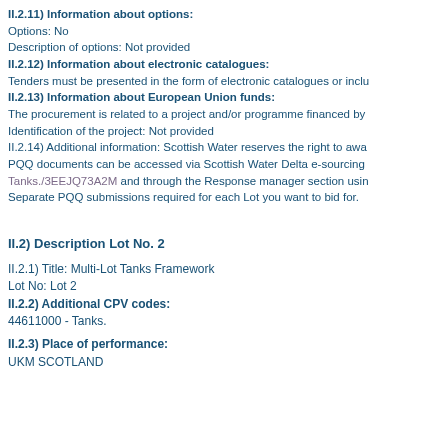II.2.11) Information about options:
Options: No
Description of options: Not provided
II.2.12) Information about electronic catalogues:
Tenders must be presented in the form of electronic catalogues or inclu
II.2.13) Information about European Union funds:
The procurement is related to a project and/or programme financed by
Identification of the project: Not provided
II.2.14) Additional information: Scottish Water reserves the right to awa
PQQ documents can be accessed via Scottish Water Delta e-sourcing
Tanks./3EEJQ73A2M and through the Response manager section usin
Separate PQQ submissions required for each Lot you want to bid for.
II.2) Description Lot No. 2
II.2.1) Title: Multi-Lot Tanks Framework
Lot No: Lot 2
II.2.2) Additional CPV codes:
44611000 - Tanks.
II.2.3) Place of performance:
UKM SCOTLAND